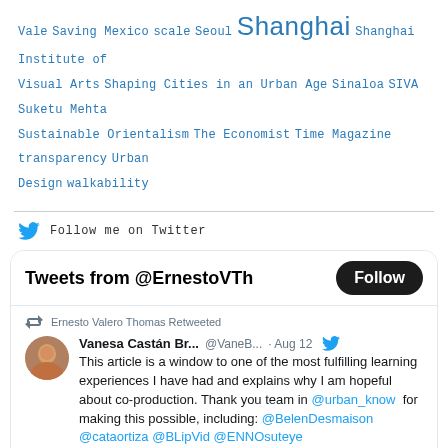Vale Saving Mexico scale Seoul Shanghai Shanghai Institute of Visual Arts Shaping Cities in an Urban Age Sinaloa SIVA Suketu Mehta Sustainable Orientalism The Economist Time Magazine transparency Urban Design walkability
Follow me on Twitter
[Figure (screenshot): Twitter widget showing Tweets from @ErnestoVTh with a Follow button, retweet from Ernesto Valero Thomas, tweet by Vanesa Castán Br... @VaneB... Aug 12 about co-production article with @urban_know @BelenDesmaison @cataortiza @BLipVid @ENNOsuteye and sciencedirect.com/science/articl...]